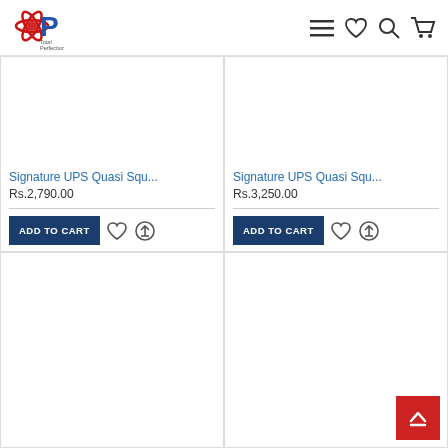[Figure (logo): Total Perfection logo with red star/gear icon and blue P letter]
Signature UPS Quasi Squ... Rs.2,790.00
Signature UPS Quasi Squ... Rs.3,250.00
ADD TO CART
ADD TO CART